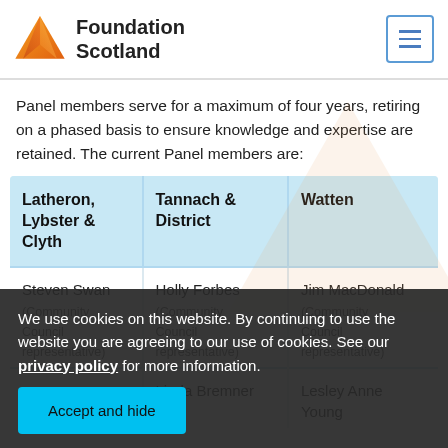Foundation Scotland
Panel members serve for a maximum of four years, retiring on a phased basis to ensure knowledge and expertise are retained. The current Panel members are:
| Latheron, Lybster & Clyth | Tannach & District | Watten |
| --- | --- | --- |
| Steven Swan (Community Council representative) | Holly Forbes (Community Council representative) | Jim MacDonald (Community Council representative) |
|  | Linda Bremner | Lesley Anne Young |
We use cookies on this website. By continuing to use the website you are agreeing to our use of cookies. See our privacy policy for more information.
Accept and hide